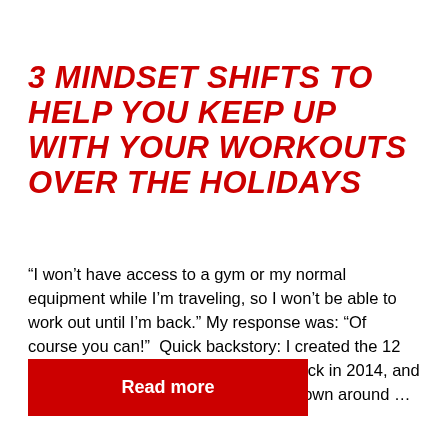3 MINDSET SHIFTS TO HELP YOU KEEP UP WITH YOUR WORKOUTS OVER THE HOLIDAYS
“I won’t have access to a gym or my normal equipment while I’m traveling, so I won’t be able to work out until I’m back.” My response was: “Of course you can!”  Quick backstory: I created the 12 Minute Athlete blog and fitness app back in 2014, and since then, I’ve become somewhat known around …
Read more